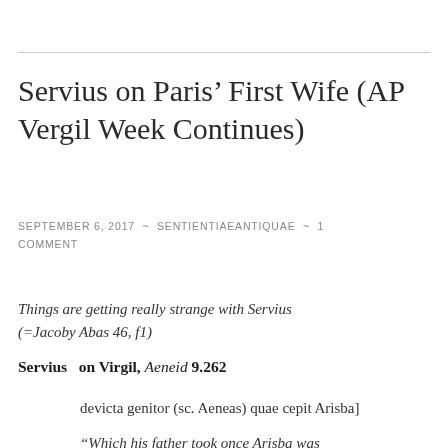Servius on Paris’ First Wife (AP Vergil Week Continues)
SEPTEMBER 6, 2017 ~ SENTIENTIAEANTIQUAE ~ 1 COMMENT
Things are getting really strange with Servius (=Jacoby Abas 46, f1)
Servius on Virgil, Aeneid 9.262
devicta genitor (sc. Aeneas) quae cepit Arisba]
“Which his father took once Arisba was